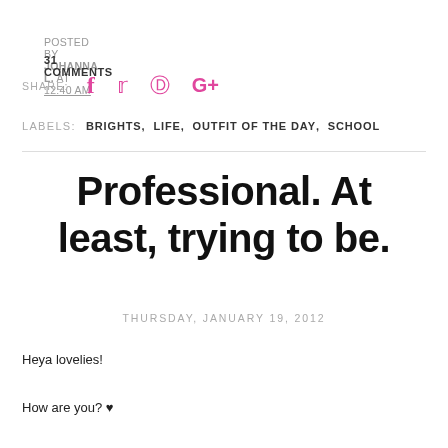POSTED BY JOHANNA L. AT 12:40 AM
31 COMMENTS
SHARE:  f  ✦  ®  G+
LABELS:  BRIGHTS,  LIFE,  OUTFIT OF THE DAY,  SCHOOL
Professional. At least, trying to be.
THURSDAY, JANUARY 19, 2012
Heya lovelies!
How are you? ♥